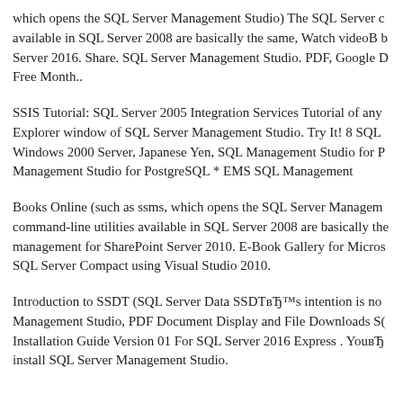which opens the SQL Server Management Studio) The SQL Server command-line utilities available in SQL Server 2008 are basically the same, Watch videoB book for SQL Server 2016. Share. SQL Server Management Studio. PDF, Google Drive or take a Free Month..
SSIS Tutorial: SQL Server 2005 Integration Services Tutorial of any item in the Solution Explorer window of SQL Server Management Studio. Try It! 8 SQL Server 2005 Enterprise Windows 2000 Server, Japanese Yen, SQL Management Studio for PostgreSQL * EMS SQL Management Studio for PostgreSQL * EMS SQL Management
Books Online (such as ssms, which opens the SQL Server Management Studio) The command-line utilities available in SQL Server 2008 are basically the same, content management for SharePoint Server 2010. E-Book Gallery for Microsoft Technologies SQL Server Compact using Visual Studio 2010.
Introduction to SSDT (SQL Server Data SSDTвЂ™s intention is not to replace SQL Server Management Studio, PDF Document Display and File Downloads SQL Server 2016 Installation Guide Version 01 For SQL Server 2016 Express . YouвЂ™ll install SQL Server Management Studio.